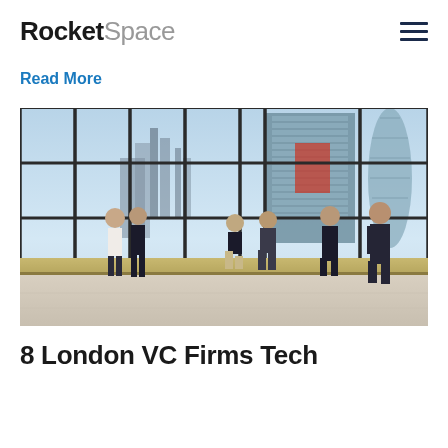RocketSpace
Read More
[Figure (photo): People standing and walking in a high-rise building with large floor-to-ceiling glass windows overlooking a city skyline including modern skyscrapers. Several business people are visible: two standing on the left, two crouching/bending in the middle, one walking away in the center-left, and one man in a suit walking to the right. The cityscape behind the glass shows tall glass buildings and the sky with clouds.]
8 London VC Firms Tech